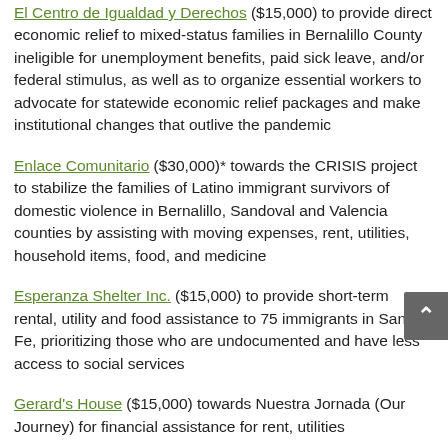El Centro de Igualdad y Derechos ($15,000) to provide direct economic relief to mixed-status families in Bernalillo County ineligible for unemployment benefits, paid sick leave, and/or federal stimulus, as well as to organize essential workers to advocate for statewide economic relief packages and make institutional changes that outlive the pandemic
Enlace Comunitario ($30,000)* towards the CRISIS project to stabilize the families of Latino immigrant survivors of domestic violence in Bernalillo, Sandoval and Valencia counties by assisting with moving expenses, rent, utilities, household items, food, and medicine
Esperanza Shelter Inc. ($15,000) to provide short-term rental, utility and food assistance to 75 immigrants in Santa Fe, prioritizing those who are undocumented and have less access to social services
Gerard's House ($15,000) towards Nuestra Jornada (Our Journey) for financial assistance for rent, utilities